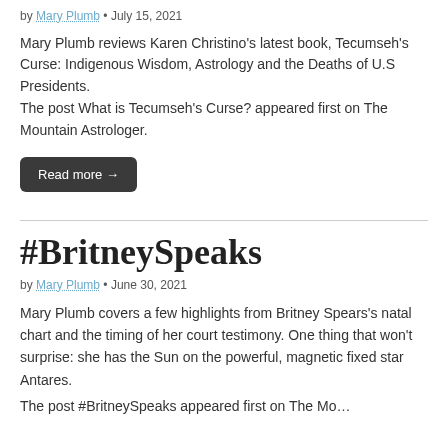by Mary Plumb • July 15, 2021
Mary Plumb reviews Karen Christino's latest book, Tecumseh's Curse: Indigenous Wisdom, Astrology and the Deaths of U.S Presidents.
The post What is Tecumseh's Curse? appeared first on The Mountain Astrologer.
Read more →
#BritneySpeaks
by Mary Plumb • June 30, 2021
Mary Plumb covers a few highlights from Britney Spears's natal chart and the timing of her court testimony. One thing that won't surprise: she has the Sun on the powerful, magnetic fixed star Antares.
The post #BritneySpeaks appeared first on The Mo...